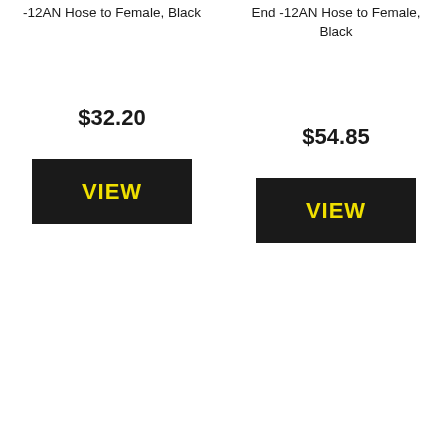-12AN Hose to Female, Black
End -12AN Hose to Female, Black
$32.20
$54.85
VIEW
VIEW